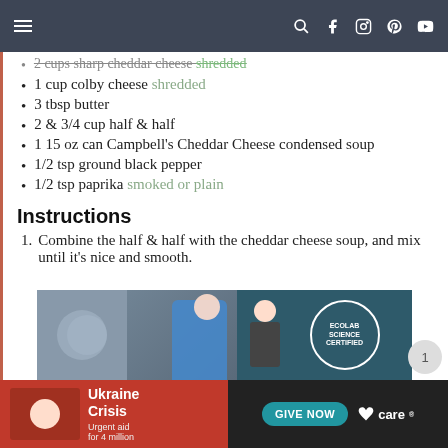Navigation header with menu, search, facebook, instagram, pinterest, youtube icons
2 cups sharp cheddar cheese shredded (strikethrough)
1 cup colby cheese shredded
3 tbsp butter
2 & 3/4 cup half & half
1 15 oz can Campbell's Cheddar Cheese condensed soup
1/2 tsp ground black pepper
1/2 tsp paprika smoked or plain
Instructions
1. Combine the half & half with the cheddar cheese soup, and mix until it's nice and smooth.
[Figure (photo): Advertisement showing medical/hospitality scene with Ecolab Science Certified badge]
[Figure (photo): Ukraine Crisis charity advertisement with GIVE NOW button and CARE logo]